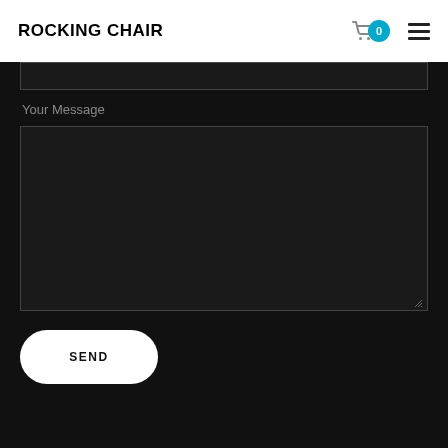ROCKING CHAIR
Your Message
[Figure (screenshot): Dark contact form with a top input field (partially visible), a 'Your Message' label, a large dark textarea input box with resize handle, and a white rounded 'SEND' button below.]